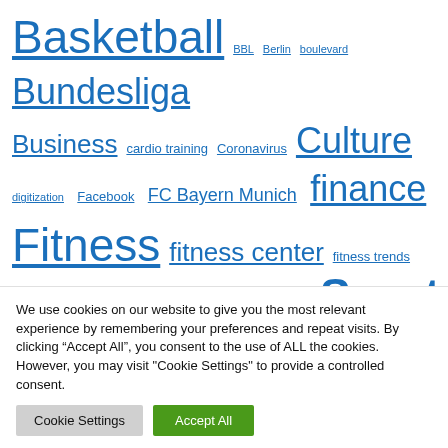Basketball BBL Berlin boulevard Bundesliga Business cardio training Coronavirus Culture digitization Facebook FC Bayern Munich finance Fitness fitness center fitness trends Football French Open Germany Hamburg towers health Instagram NBA NDR News News archive NFL politics Press Press release press releases Ruesselsheim sc Sport
We use cookies on our website to give you the most relevant experience by remembering your preferences and repeat visits. By clicking “Accept All”, you consent to the use of ALL the cookies. However, you may visit "Cookie Settings" to provide a controlled consent.